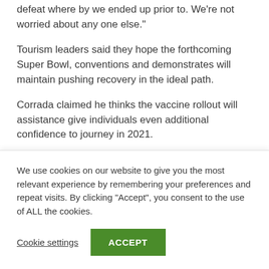defeat where by we ended up prior to. We’re not worried about any one else.”
Tourism leaders said they hope the forthcoming Super Bowl, conventions and demonstrates will maintain pushing recovery in the ideal path.
Corrada claimed he thinks the vaccine rollout will assistance give individuals even additional confidence to journey in 2021.
Top Destination Date Price Transportation
We use cookies on our website to give you the most relevant experience by remembering your preferences and repeat visits. By clicking “Accept”, you consent to the use of ALL the cookies.